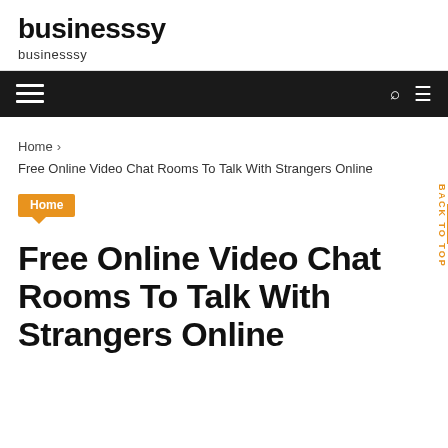businesssy
businesssy
Home > Free Online Video Chat Rooms To Talk With Strangers Online
Home
Free Online Video Chat Rooms To Talk With Strangers Online